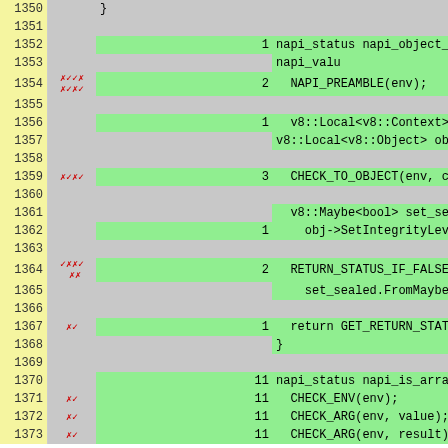[Figure (screenshot): Code coverage viewer showing C++ source code lines 1350-1373 of a Node.js NAPI implementation. Left column shows line numbers on yellow background, middle column shows coverage markers (red X and green checkmarks) on gray background, next column shows hit counts on green background, and rightmost column shows source code on green or gray background depending on coverage.]